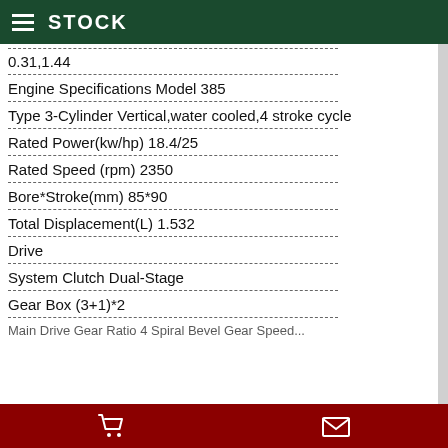STOCK
0.31,1.44
Engine Specifications Model 385
Type 3-Cylinder Vertical,water cooled,4 stroke cycle
Rated Power(kw/hp) 18.4/25
Rated Speed (rpm) 2350
Bore*Stroke(mm) 85*90
Total Displacement(L) 1.532
Drive
System Clutch Dual-Stage
Gear Box (3+1)*2